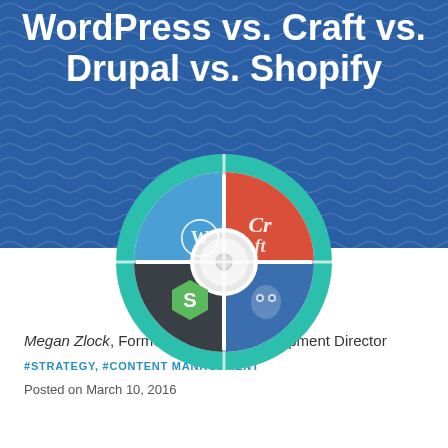WordPress vs. Craft vs. Drupal vs. Shopify
[Figure (infographic): A circular wheel/dial infographic divided into four quadrants, each representing a CMS platform: WordPress (top-left, blue with WordPress logo), Craft (top-right, red with Craft CMS logo), Shopify (bottom-left, dark/charcoal with Shopify logo), Drupal (bottom-right, blue with Drupal logo). The wheel has a teal/turquoise outer ring and a white center hub.]
Megan Zlock, Former Front-End Development Director
#STRATEGY, #CONTENT MANAGEMENT
Posted on March 10, 2016